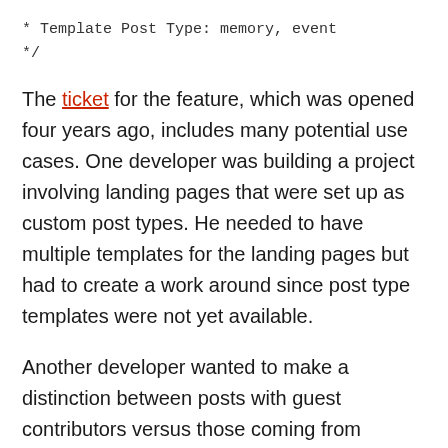* Template Post Type: memory, event
*/
The ticket for the feature, which was opened four years ago, includes many potential use cases. One developer was building a project involving landing pages that were set up as custom post types. He needed to have multiple templates for the landing pages but had to create a work around since post type templates were not yet available.
Another developer wanted to make a distinction between posts with guest contributors versus those coming from regular writers, such as displaying author boxes and avatars. Since this project was for a client, an implementation involving post templates